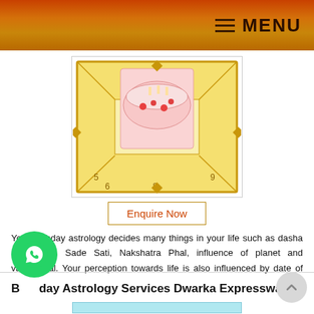MENU
[Figure (illustration): Astrological birthday chart with a birthday cake image centered in a golden decorative Vedic chart frame, showing numbers 5, 6, 8, 9]
Enquire Now
Your birthday astrology decides many things in your life such as dasha predictions, Sade Sati, Nakshatra Phal, influence of planet and varshaphal. Your perception towards life is also influenced by date of birth. Your direction of life is decided, when you enter into the world.
Birthday Astrology Services Dwarka Expressway
[Figure (illustration): Bottom section showing beginning of another astrology service image card with teal/cyan colored header bar]